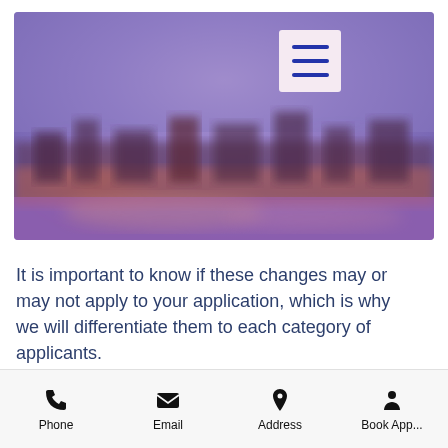[Figure (photo): Blurred cityscape/skyline photo with purple and orange sunset tones, with a hamburger menu icon in a light pink square in the upper right area of the image]
It is important to know if these changes may or may not apply to your application, which is why we will differentiate them to each category of applicants.
Phone   Email   Address   Book App...